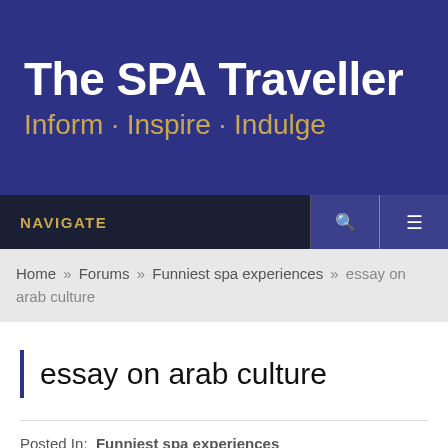The SPA Traveller
Inform · Inspire · Indulge
NAVIGATE
Home » Forums » Funniest spa experiences » essay on arab culture
essay on arab culture
Posted In:  Funniest spa experiences